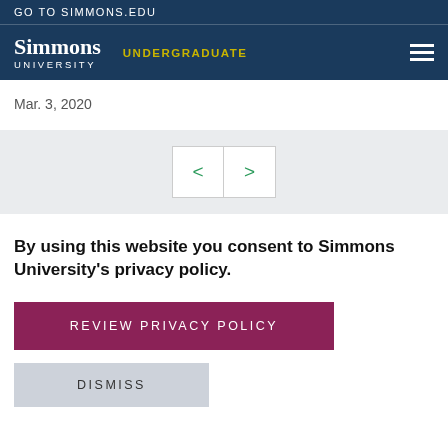GO TO SIMMONS.EDU
Simmons University — UNDERGRADUATE
Mar. 3, 2020
[Figure (other): Navigation slider with left and right arrow buttons (< and >) on a light grey background]
By using this website you consent to Simmons University's privacy policy.
REVIEW PRIVACY POLICY
DISMISS